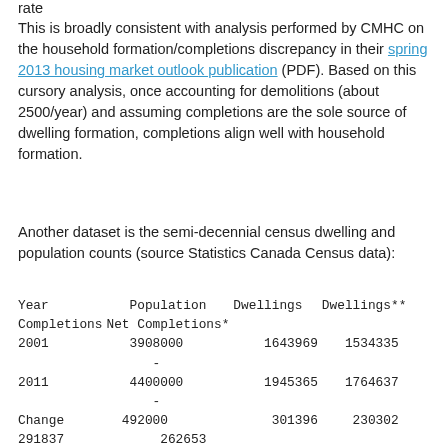rate
This is broadly consistent with analysis performed by CMHC on the household formation/completions discrepancy in their spring 2013 housing market outlook publication (PDF). Based on this cursory analysis, once accounting for demolitions (about 2500/year) and assuming completions are the sole source of dwelling formation, completions align well with household formation.
Another dataset is the semi-decennial census dwelling and population counts (source Statistics Canada Census data):
| Year | Population | Dwellings | Dwellings** | Completions | Net Completions* |
| --- | --- | --- | --- | --- | --- |
| 2001 | 3908000 | 1643969 | 1534335 | - | - |
| 2011 | 4400000 | 1945365 | 1764637 | - | - |
| Change | 492000 | 301396 | 230302 | 291837 | 262653 |